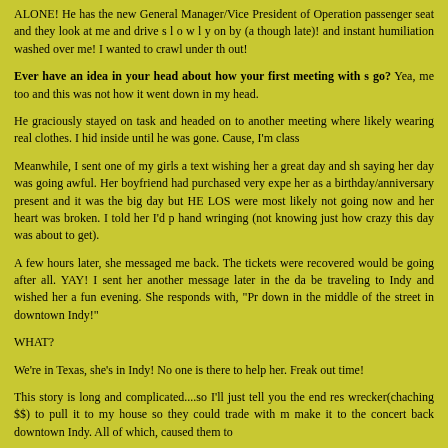ALONE! He has the new General Manager/Vice President of Operations in the passenger seat and they look at me and drive s l o w l y on by (a thought: they drive late)! and instant humiliation washed over me! I wanted to crawl under the rock I had out!
Ever have an idea in your head about how your first meeting with s go? Yea, me too and this was not how it went down in my head.
He graciously stayed on task and headed on to another meeting where likely wearing real clothes. I hid inside until he was gone. Cause, I'm class
Meanwhile, I sent one of my girls a text wishing her a great day and sh saying her day was going awful. Her boyfriend had purchased very expe her as a birthday/anniversary present and it was the big day but HE LO were most likely not going now and her heart was broken. I told her I'd p hand wringing (not knowing just how crazy this day was about to get).
A few hours later, she messaged me back. The tickets were recovered would be going after all. YAY! I sent her another message later in the da be traveling to Indy and wished her a fun evening. She responds with, "Pr down in the middle of the street in downtown Indy!"
WHAT?
We're in Texas, she's in Indy! No one is there to help her. Freak out time!
This story is long and complicated....so I'll just tell you the end res wrecker(chaching $$) to pull it to my house so they could trade with m make it to the concert back downtown Indy. All of which, caused them to